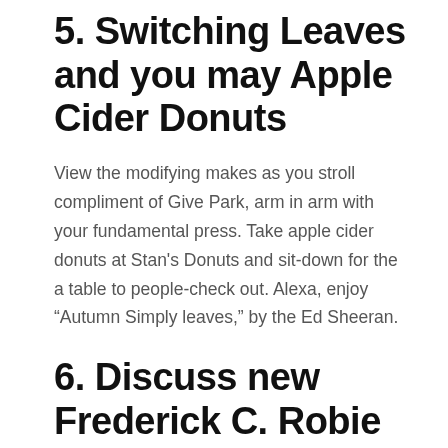5. Switching Leaves and you may Apple Cider Donuts
View the modifying makes as you stroll compliment of Give Park, arm in arm with your fundamental press. Take apple cider donuts at Stan’s Donuts and sit-down for the a table to people-check out. Alexa, enjoy “Autumn Simply leaves,” by the Ed Sheeran.
6. Discuss new Frederick C. Robie Home